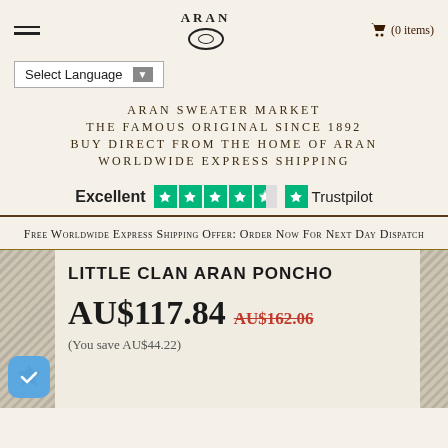ARAN  (0 items)
Select Language
ARAN SWEATER MARKET
THE FAMOUS ORIGINAL SINCE 1892
BUY DIRECT FROM THE HOME OF ARAN
WORLDWIDE EXPRESS SHIPPING
[Figure (logo): Trustpilot rating showing Excellent with 4.5 stars and Trustpilot logo]
Free Worldwide Express Shipping Offer: Order Now For Next Day Dispatch
LITTLE CLAN ARAN PONCHO
AU$117.84 AU$162.06
(You save AU$44.22)